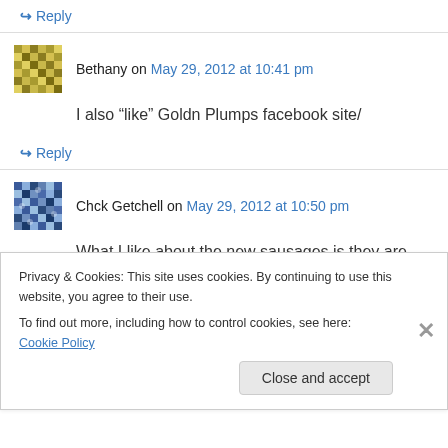↪ Reply
Bethany on May 29, 2012 at 10:41 pm
I also “like” Goldn Plumps facebook site/
↪ Reply
Chck Getchell on May 29, 2012 at 10:50 pm
What I like about the new sausages is they are leaner and are a healthy food. I’d make the hot
Privacy & Cookies: This site uses cookies. By continuing to use this website, you agree to their use.
To find out more, including how to control cookies, see here: Cookie Policy